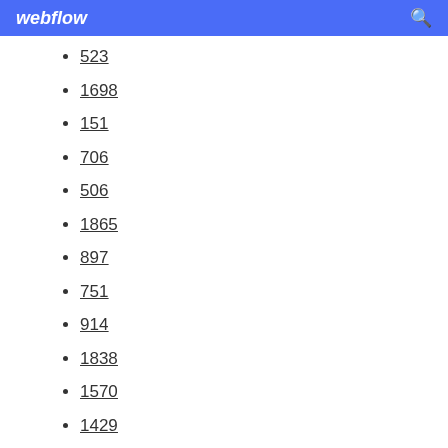webflow
523
1698
151
706
506
1865
897
751
914
1838
1570
1429
371